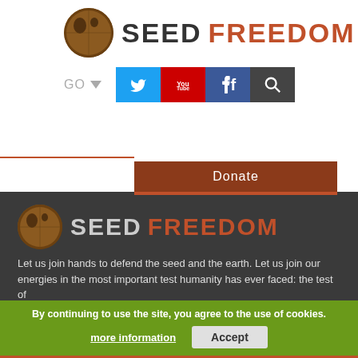[Figure (logo): Seed Freedom logo with circular seed image and SEED FREEDOM text in top white section]
[Figure (screenshot): Navigation bar with GO dropdown and social media icons: Twitter (blue), YouTube (red), Facebook (blue), Search (dark)]
Donate
[Figure (logo): Seed Freedom logo with circular seed image and SEED FREEDOM text in bottom dark section]
Let us join hands to defend the seed and the earth. Let us join our energies in the most important test humanity has ever faced: the test of survival. Our seeds are seeds of resistance; let us plant them together.
By continuing to use the site, you agree to the use of cookies.
more information
Accept